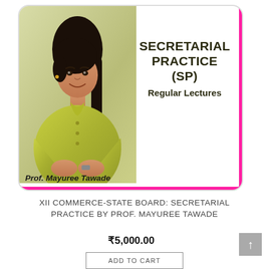[Figure (photo): Photo of Prof. Mayuree Tawade, a woman in a yellow-green kurta with dark hair, seated and smiling, shown from waist up]
SECRETARIAL PRACTICE (SP) Regular Lectures
Prof. Mayuree Tawade
XII COMMERCE-STATE BOARD: SECRETARIAL PRACTICE BY PROF. MAYUREE TAWADE
₹5,000.00
ADD TO CART